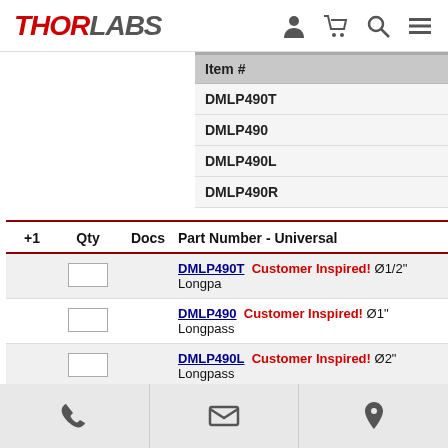THORLABS
| Item # |
| --- |
| DMLP490T |
| DMLP490 |
| DMLP490L |
| DMLP490R |
| +1 | Qty | Docs | Part Number - Universal |  |
| --- | --- | --- | --- | --- |
|  |  |  | DMLP490T | Customer Inspired! Ø1/2" Longpa... |
|  |  |  | DMLP490 | Customer Inspired! Ø1" Longpass... |
|  |  |  | DMLP490L | Customer Inspired! Ø2" Longpass... |
|  |  |  | DMLP490R | Customer Inspired! 25 mm x 36 m... |
Phone | Email | Location